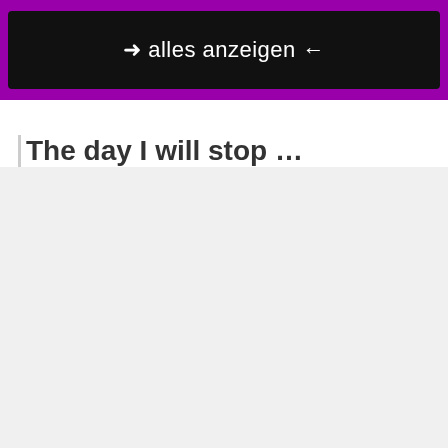➜ alles anzeigen ←
The day I will stop …